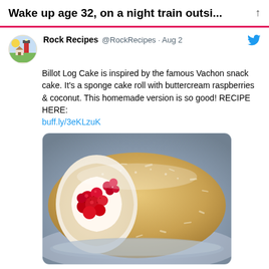Wake up age 32, on a night train outsi...
Rock Recipes @RockRecipes · Aug 2
Billot Log Cake is inspired by the famous Vachon snack cake. It's a sponge cake roll with buttercream raspberries & coconut. This homemade version is so good! RECIPE HERE:
buff.ly/3eKLzuK
[Figure (photo): A sliced sponge cake roll (log cake) coated in shredded coconut, with white buttercream and red raspberries visible inside the spiral cross-section, served on a plate.]
1 reply · 18 likes